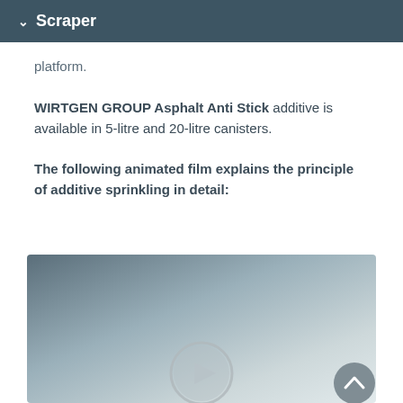Scraper
platform.
WIRTGEN GROUP Asphalt Anti Stick additive is available in 5-litre and 20-litre canisters.
The following animated film explains the principle of additive sprinkling in detail:
[Figure (screenshot): Video player thumbnail with gradient grey background and a circular play button centered at the bottom, with a scroll-to-top button at the bottom right.]